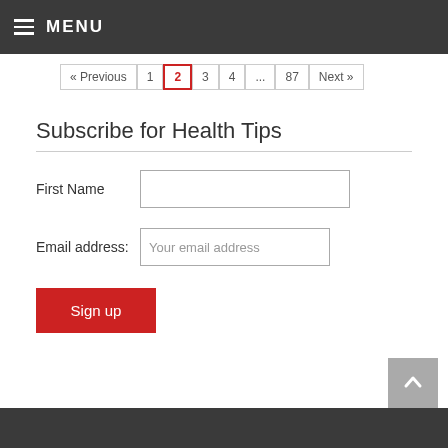MENU
« Previous  1  2  3  4  ...  87  Next »
Subscribe for Health Tips
First Name
Email address: Your email address
Sign up